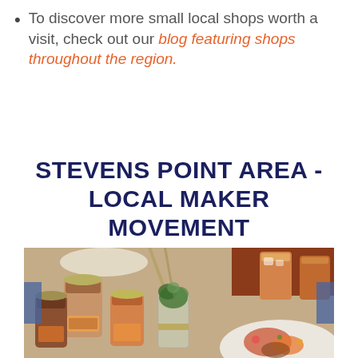To discover more small local shops worth a visit, check out our blog featuring shops throughout the region.
STEVENS POINT AREA - LOCAL MAKER MOVEMENT
[Figure (photo): Overhead photo of artisan food/drink products on a table: glass jars with brown/orange contents and branded labels, a small mason jar with green herbs, orange drinks with ice, and a white plate with colorful food, on a light stone surface.]